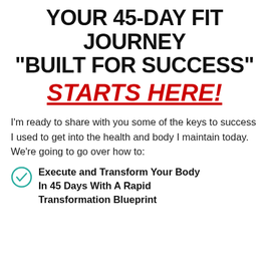YOUR 45-DAY FIT JOURNEY "BUILT FOR SUCCESS" STARTS HERE!
I'm ready to share with you some of the keys to success I used to get into the health and body I maintain today. We're going to go over how to:
Execute and Transform Your Body In 45 Days With A Rapid Transformation Blueprint